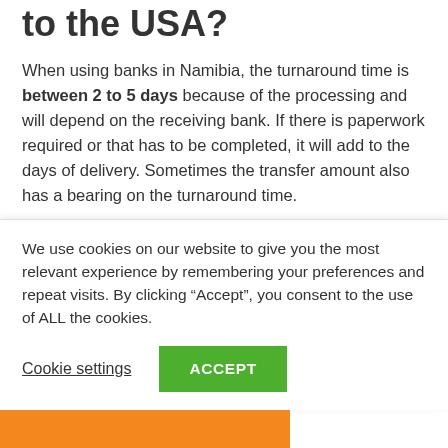to the USA?
When using banks in Namibia, the turnaround time is between 2 to 5 days because of the processing and will depend on the receiving bank. If there is paperwork required or that has to be completed, it will add to the days of delivery. Sometimes the transfer amount also has a bearing on the turnaround time.
With a money transfer company, the delivery can be as fast as a few minutes, in a few hours, or within 24 hours. The longest it would take is the next-day delivery. Also, it will depend on the method of delivery to the recipient if it
We use cookies on our website to give you the most relevant experience by remembering your preferences and repeat visits. By clicking “Accept”, you consent to the use of ALL the cookies.